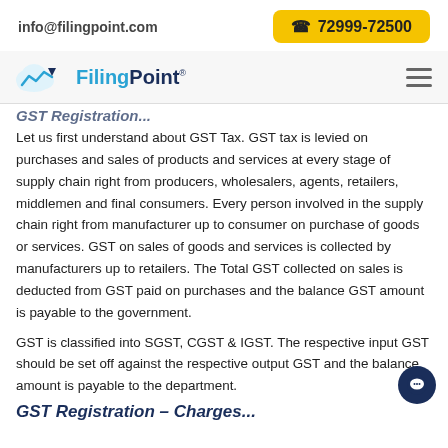info@filingpoint.com   ☎ 72999-72500
[Figure (logo): FilingPoint logo with cloud and chart icon, company name in blue]
Let us first understand about GST Tax. GST tax is levied on purchases and sales of products and services at every stage of supply chain right from producers, wholesalers, agents, retailers, middlemen and final consumers. Every person involved in the supply chain right from manufacturer up to consumer on purchase of goods or services. GST on sales of goods and services is collected by manufacturers up to retailers. The Total GST collected on sales is deducted from GST paid on purchases and the balance GST amount is payable to the government.
GST is classified into SGST, CGST & IGST. The respective input GST should be set off against the respective output GST and the balance amount is payable to the department.
GST Registration – Charges...